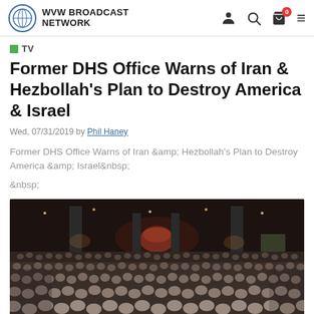WVW BROADCAST NETWORK
TV
Former DHS Office Warns of Iran & Hezbollah's Plan to Destroy America & Israel
Wed, 07/31/2019 by Phil Haney
Former DHS Office Warns of Iran &amp; Hezbollah's Plan to Destroy America &amp; Israel&nbsp;

&nbsp;
[Figure (photo): Large auditorium filled with a crowd of attendees seated, viewed from the back, with stage lighting and pillars visible]